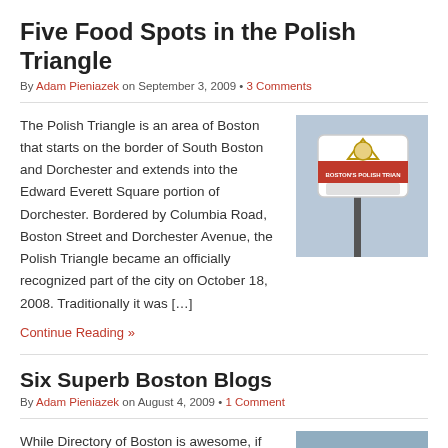Five Food Spots in the Polish Triangle
By Adam Pieniazek on September 3, 2009 • 3 Comments
The Polish Triangle is an area of Boston that starts on the border of South Boston and Dorchester and extends into the Edward Everett Square portion of Dorchester. Bordered by Columbia Road, Boston Street and Dorchester Avenue, the Polish Triangle became an officially recognized part of the city on October 18, 2008. Traditionally it was […]
[Figure (photo): Boston's Polish Triangle street sign]
Continue Reading »
Six Superb Boston Blogs
By Adam Pieniazek on August 4, 2009 • 1 Comment
While Directory of Boston is awesome, if
[Figure (photo): Sky photo]